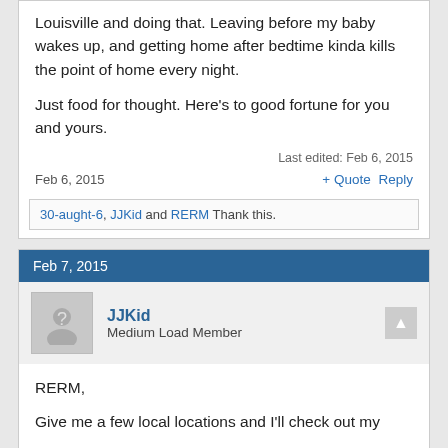Louisville and doing that. Leaving before my baby wakes up, and getting home after bedtime kinda kills the point of home every night.

Just food for thought. Here's to good fortune for you and yours.
Last edited: Feb 6, 2015
Feb 6, 2015
+ Quote   Reply
30-aught-6, JJKid and RERM Thank this.
Feb 7, 2015
JJKid
Medium Load Member
RERM,

Give me a few local locations and I'll check out my